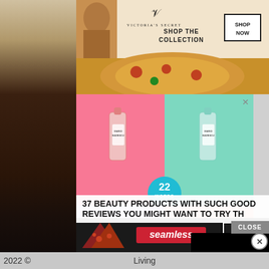[Figure (screenshot): Victoria's Secret advertisement banner showing a model and text 'SHOP THE COLLECTION' with a 'SHOP NOW' button]
[Figure (screenshot): Mario Badescu skincare products advertisement showing facial spray bottles on pink, teal, purple, and orange backgrounds with '22 WORDS' badge]
37 BEAUTY PRODUCTS WITH SUCH GOOD REVIEWS YOU MIGHT WANT TO TRY TH
[Figure (screenshot): Black video player overlay covering part of the Mario Badescu ad]
[Figure (screenshot): Seamless food delivery advertisement banner showing pizza slices and 'ORDER NOW' button]
2022 ©                                                            Living